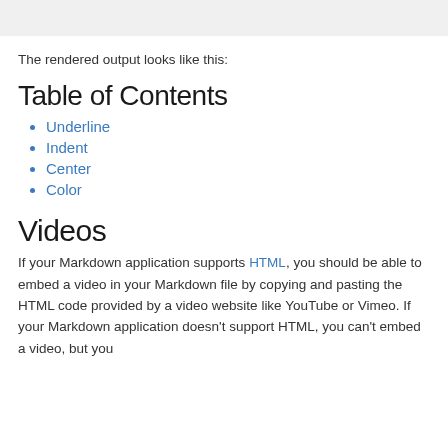The rendered output looks like this:
Table of Contents
Underline
Indent
Center
Color
Videos
If your Markdown application supports HTML, you should be able to embed a video in your Markdown file by copying and pasting the HTML code provided by a video website like YouTube or Vimeo. If your Markdown application doesn't support HTML, you can't embed a video, but you